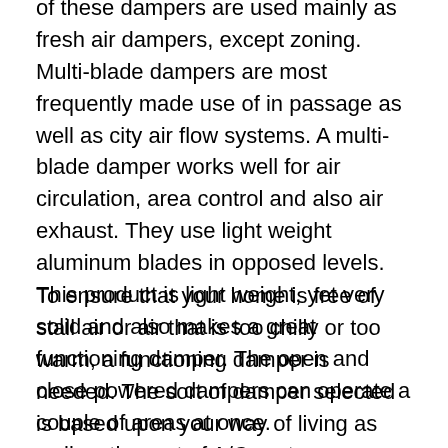of these dampers are used mainly as fresh air dampers, except zoning. Multi-blade dampers are most frequently made use of in passage as well as city air flow systems. A multi-blade damper works well for air circulation, area control and also air exhaust. They use light weight aluminum blades in opposed levels. This product is light weight, yet very solid and also makes a great functioning damper. The open and close powered dampers can operate a couple of areas at once.
To ensure that your home is free of stall air or air that is too chilly or too warm, a functioning damper is needed. The sort of damper selected is based upon your way of living as well as the sort of A/C system you currently possess. Choosing the optimal damper for your requirements can result in your household's comfort all year or a collection of regular complaints about their lack of comfort. Mounting a mechanized damper gets rid of any hand-operated operation that may have formerly been called for by your HEATING AND COOLING system and also permits your household